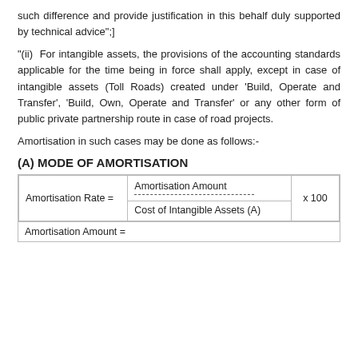such difference and provide justification in this behalf duly supported by technical advice";]
"(ii)  For intangible assets, the provisions of the accounting standards applicable for the time being in force shall apply, except in case of intangible assets (Toll Roads) created under 'Build, Operate and Transfer', 'Build, Own, Operate and Transfer' or any other form of public private partnership route in case of road projects.
Amortisation in such cases may be done as follows:-
(A) MODE OF AMORTISATION
| Amortisation Rate = | Amortisation Amount / Cost of Intangible Assets (A) | x 100 |
| --- | --- | --- |
Amortisation Amount =